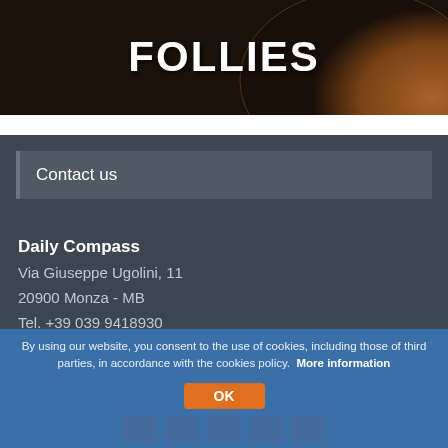[Figure (illustration): Dark space-themed banner image with bold white text reading 'FOLLIES' on a dark brown/orange planetary background]
Contact us
Daily Compass
Via Giuseppe Ugolini, 11
20900 Monza - MB
Tel. +39 039 9418930
Email Address
englishdesk@thenewdailycompass.com
By using our website, you consent to the use of cookies, including those of third parties, in accordance with the cookies policy. More information
OK